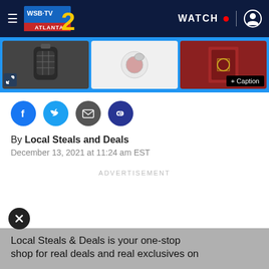WSB-TV Atlanta 2 — WATCH
[Figure (photo): Image strip showing product photos (lantern, watch/jewelry, rug) with a caption button overlay]
[Figure (infographic): Social share icons: Facebook, Twitter, Email, Link]
By Local Steals and Deals
December 13, 2021 at 11:24 am EST
ADVERTISEMENT
Local Steals & Deals is your one-stop shop for real deals and real exclusives on...